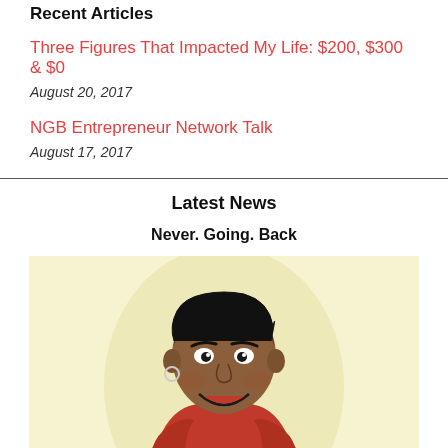Recent Articles
Three Figures That Impacted My Life: $200, $300 & $0
August 20, 2017
NGB Entrepreneur Network Talk
August 17, 2017
Latest News
Never. Going. Back
[Figure (illustration): Comic-style illustration of a smiling woman with short dark hair wearing a red top, on a pale yellow background]